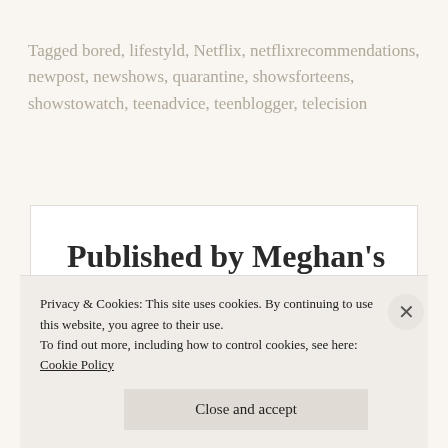Tagged bored, lifestyld, Netflix, netflixrecommendations, newpost, newshows, quarantine, showsforteens, showstowatch, teenadvice, teenblogger, telecision
Published by Meghan's Teen
Privacy & Cookies: This site uses cookies. By continuing to use this website, you agree to their use. To find out more, including how to control cookies, see here: Cookie Policy
Close and accept